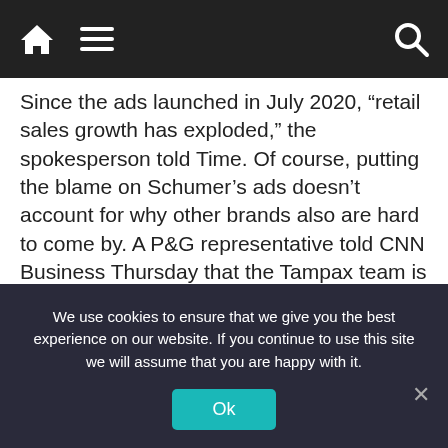Navigation bar with home, menu, and search icons
Since the ads launched in July 2020, “retail sales growth has exploded,” the spokesperson told Time. Of course, putting the blame on Schumer’s ads doesn’t account for why other brands also are hard to come by. A P&G representative told CNN Business Thursday that the Tampax team is “producing tampons 24/7 to meet the increased demand.”
“We understand it is frustrating for consumers when they can’t find what they need,” the P&G spokeperson said in an email. “We can assure you this is a temporary situation.”
As headlines about the Schumer comment circulated
We use cookies to ensure that we give you the best experience on our website. If you continue to use this site we will assume that you are happy with it.